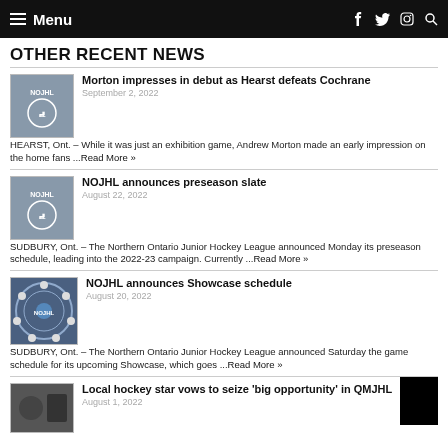Menu (navigation bar with social icons)
OTHER RECENT NEWS
Morton impresses in debut as Hearst defeats Cochrane | September 2, 2022 | HEARST, Ont. – While it was just an exhibition game, Andrew Morton made an early impression on the home fans ...Read More »
NOJHL announces preseason slate | August 22, 2022 | SUDBURY, Ont. – The Northern Ontario Junior Hockey League announced Monday its preseason schedule, leading into the 2022-23 campaign. Currently ...Read More »
NOJHL announces Showcase schedule | August 20, 2022 | SUDBURY, Ont. – The Northern Ontario Junior Hockey League announced Saturday the game schedule for its upcoming Showcase, which goes ...Read More »
Local hockey star vows to seize 'big opportunity' in QMJHL | August 1, 2022